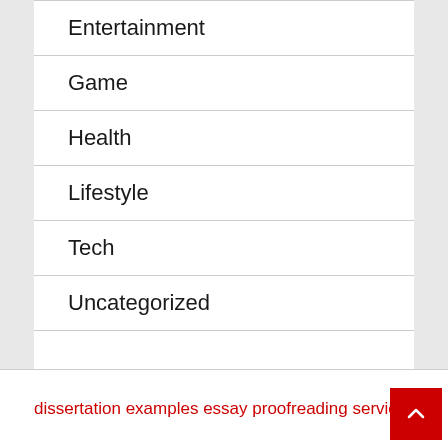Entertainment
Game
Health
Lifestyle
Tech
Uncategorized
dissertation examples essay proofreading service